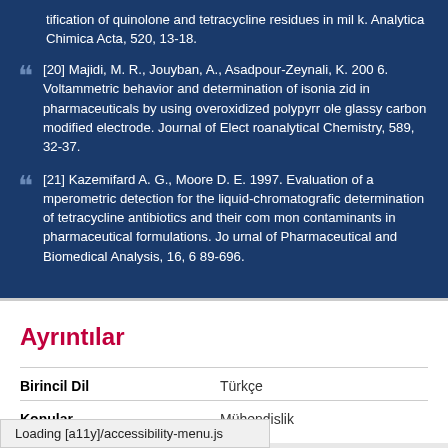tification of quinolone and tetracycline residues in milk. Analytica Chimica Acta, 520, 13-18.
[20] Majidi, M. R., Jouyban, A., Asadpour-Zeynali, K. 2006. Voltammetric behavior and determination of isoniazid in pharmaceuticals by using overoxidized polypyrrole glassy carbon modified electrode. Journal of Electroanalytical Chemistry, 589, 32-37.
[21] Kazemifard A. G., Moore D. E. 1997. Evaluation of amperometric detection for the liquid-chromatografic determination of tetracycline antibiotics and their common contaminants in pharmaceutical formulations. Journal of Pharmaceutical and Biomedical Analysis, 16, 689-696.
Ayrıntılar
| Birincil Dil | Türkçe |
| --- | --- |
| Konular | Mühendislik |